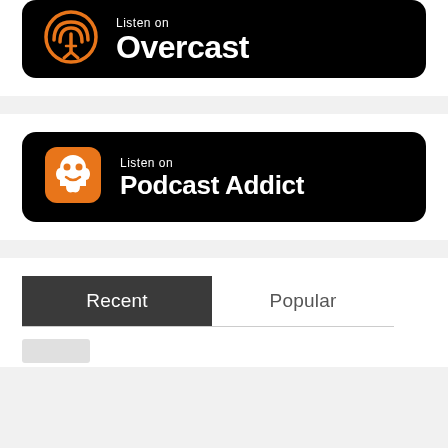[Figure (logo): Listen on Overcast black badge with orange antenna tower icon and white text 'Listen on Overcast']
[Figure (logo): Listen on Podcast Addict black badge with orange square icon featuring a white headphone ghost and white text 'Listen on Podcast Addict']
Recent
Popular